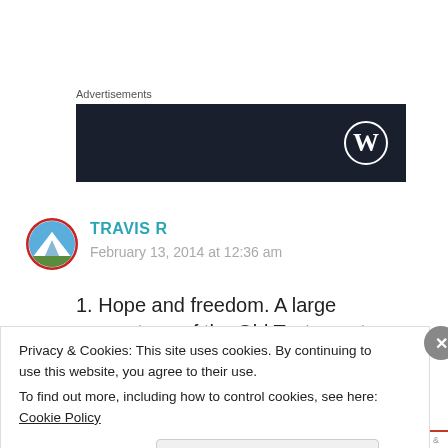Advertisements
[Figure (logo): Dark banner advertisement with WordPress logo (W in circle) on right side]
[Figure (illustration): Circular user avatar showing mountain/landscape with red border for user Travis R]
TRAVIS R
February 13, 2014 at 12:36 am
1. Hope and freedom. A large percentage of the Old Testament seems to be about Israel
Privacy & Cookies: This site uses cookies. By continuing to use this website, you agree to their use.
To find out more, including how to control cookies, see here: Cookie Policy
Close and accept